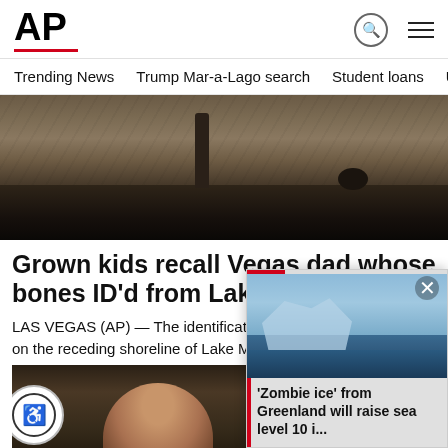AP
Trending News   Trump Mar-a-Lago search   Student loans   U.S.
[Figure (photo): Dark rocky shoreline with receding water at Lake Mead, showing exposed sediment and muddy terrain]
Grown kids recall Vegas dad whose bones ID'd from Lake Mead
LAS VEGAS (AP) — The identification of bones found in May on the receding shoreline of Lake Mead
days ago
[Figure (photo): Person's face partially visible in dark background — video thumbnail for article]
[Figure (photo): Popup overlay showing blue icy scene with icebergs from Greenland with close button and red bar]
'Zombie ice' from Greenland will raise sea level 10 i...